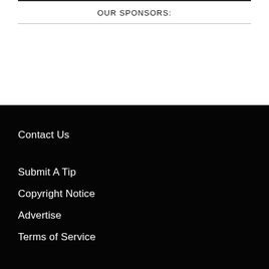OUR SPONSORS:
Contact Us
Submit A Tip
Copyright Notice
Advertise
Terms of Service